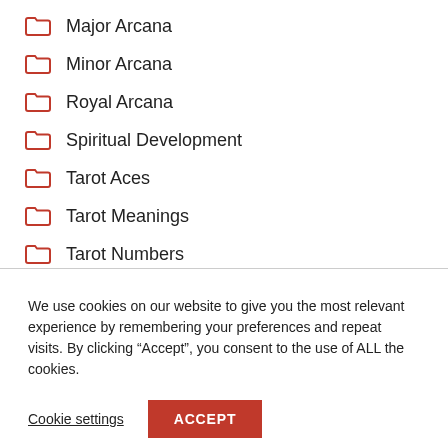Major Arcana
Minor Arcana
Royal Arcana
Spiritual Development
Tarot Aces
Tarot Meanings
Tarot Numbers
We use cookies on our website to give you the most relevant experience by remembering your preferences and repeat visits. By clicking “Accept”, you consent to the use of ALL the cookies.
Cookie settings  ACCEPT